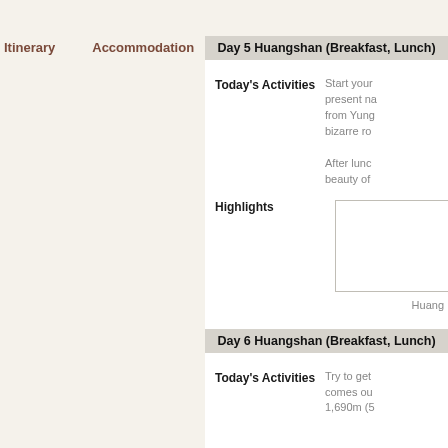Itinerary   Accommodation   Meals   Add On   Comments
Day 5 Huangshan (Breakfast, Lunch)
Today's Activities
Start your present na from Yung bizarre ro
After lunc beauty of
Highlights
[Figure (other): Empty highlights box/image placeholder]
Huang
Day 6 Huangshan (Breakfast, Lunch)
Today's Activities
Try to get comes ou 1,690m (5